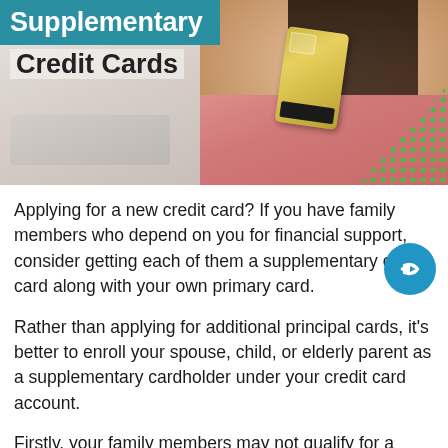[Figure (photo): Young Asian woman smiling and holding a gold/yellow credit card, lying on a bed with a laptop in the background. The image serves as a hero banner for an article about supplementary credit cards.]
Supplementary Credit Cards
Applying for a new credit card? If you have family members who depend on you for financial support, consider getting each of them a supplementary credit card along with your own primary card.
Rather than applying for additional principal cards, it's better to enroll your spouse, child, or elderly parent as a supplementary cardholder under your credit card account.
Firstly, your family members may not qualify for a